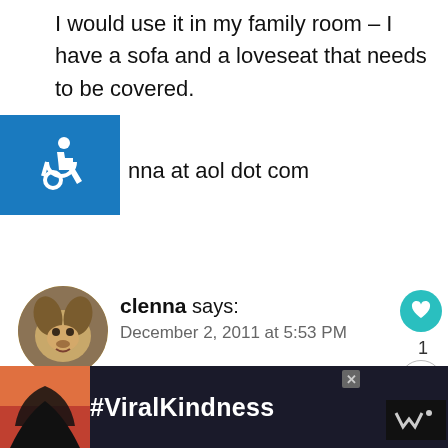I would use it in my family room – I have a sofa and a loveseat that needs to be covered.
[Figure (illustration): Blue accessibility/wheelchair symbol badge (partially overlapping text)]
nna at aol dot com
[Figure (photo): Circular avatar photo of a golden retriever dog]
clenna says:
December 2, 2011 at 5:53 PM
[Figure (illustration): Heart/like button (teal circle with heart icon) with count 1, and share button below]
I Follow Consumer Queen via email
clenna at aol dot com
[Figure (illustration): What's Next widget with small image and text: Join the Kitchen...]
[Figure (illustration): Advertisement banner with black background showing hands making a heart shape and text #ViralKindness]